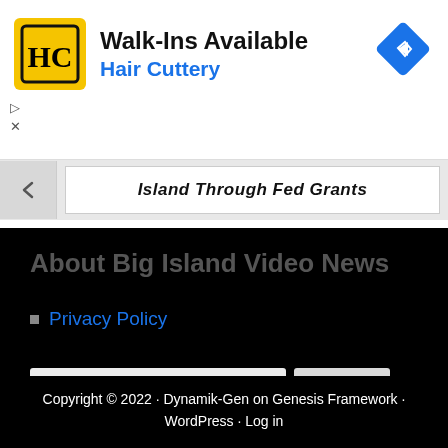[Figure (infographic): Hair Cuttery advertisement banner with yellow HC logo, text 'Walk-Ins Available' and 'Hair Cuttery', and a blue diamond navigation icon in the top right.]
Island Through Fed Grants
About Big Island Video News
Privacy Policy
Search this website
Copyright © 2022 · Dynamik-Gen on Genesis Framework · WordPress · Log in